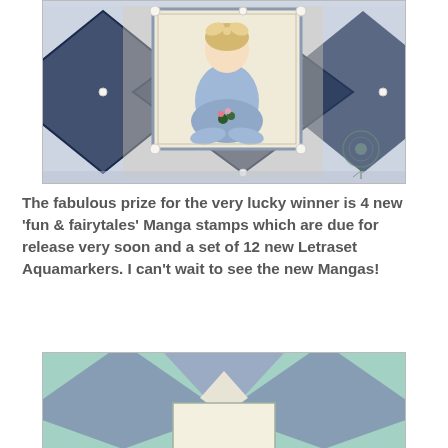[Figure (photo): A handmade greeting card featuring a manga-style figure of a girl in a blue dress sitting cross-legged, set within a framed card. The background has dark blue diagonal diamond/chevron patterns on a light blue textured paper. Decorative pearl beads are placed at corners and edges. A rose illustration is visible in the lower right corner.]
The fabulous prize for the very lucky winner is 4 new 'fun & fairytales' Manga stamps which are due for release very soon and a set of 12 new Letraset Aquamarkers. I can't wait to see the new Mangas!
[Figure (photo): A handmade card with a mint/teal textured background featuring geometric triangle/diamond shapes in muted blue-grey tones and a cream/ivory colored rectangular panel in the center.]